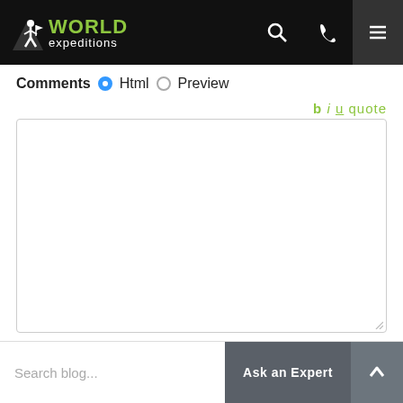[Figure (logo): World Expeditions logo with hiker icon on black header bar with search, phone, and menu icons]
Comments  Html  Preview
b i u quote
Save Comment
Search blog...
Ask an Expert